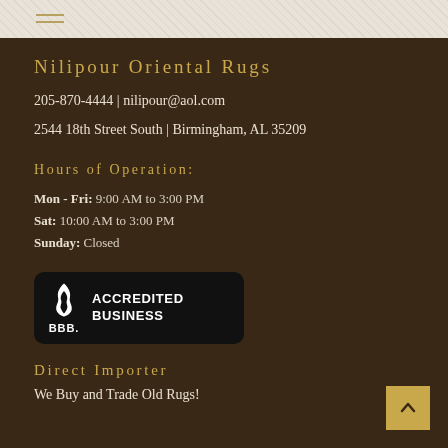Nilipour Oriental Rugs
205-870-4444 | nilipour@aol.com
2544 18th Street South | Birmingham, AL 35209
Hours of Operation:
Mon - Fri: 9:00 AM to 3:00 PM
Sat: 10:00 AM to 3:00 PM
Sunday: Closed
[Figure (logo): BBB Accredited Business badge — black rounded rectangle with BBB flame logo on left and 'ACCREDITED BUSINESS' text on right, 'BBB.' label below logo]
Direct Importer
We Buy and Trade Old Rugs!